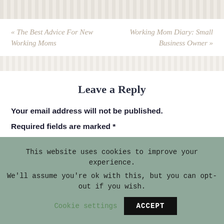[Figure (other): Decorative horizontal bar with repeating pattern at top of page]
« The Best Advice For New Working Moms
Working Mom Diary: Small Business Owner »
[Figure (other): Decorative horizontal bar with repeating pattern]
Leave a Reply
Your email address will not be published.
Required fields are marked *
This website uses cookies to improve your experience. We'll assume you're ok with this, but you can opt-out if you wish. Cookie settings ACCEPT